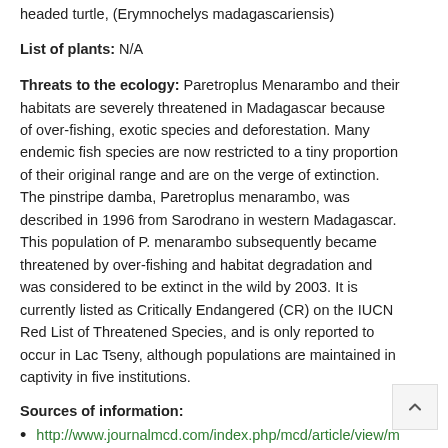headed turtle, (Erymnochelys madagascariensis)
List of plants: N/A
Threats to the ecology: Paretroplus Menarambo and their habitats are severely threatened in Madagascar because of over-fishing, exotic species and deforestation. Many endemic fish species are now restricted to a tiny proportion of their original range and are on the verge of extinction. The pinstripe damba, Paretroplus menarambo, was described in 1996 from Sarodrano in western Madagascar. This population of P. menarambo subsequently became threatened by over-fishing and habitat degradation and was considered to be extinct in the wild by 2003. It is currently listed as Critically Endangered (CR) on the IUCN Red List of Threatened Species, and is only reported to occur in Lac Tseny, although populations are maintained in captivity in five institutions.
Sources of information:
http://www.journalmcd.com/index.php/mcd/article/view/mcd.v6i2.7
https://www.ajol.info/index.php/mcd/article/viewFile/7361914
https://www.cbd.int/doc/world/mg/mg-nr-05-en.pdf